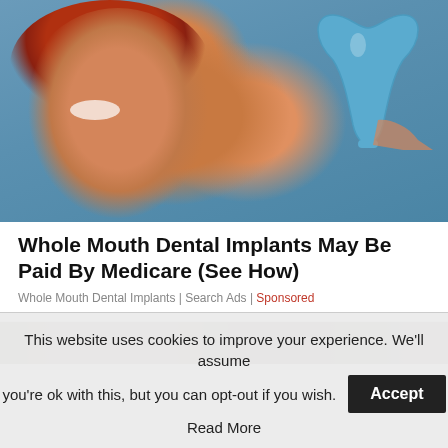[Figure (photo): Woman with red hair smiling in a dental chair, holding a blue tooth-shaped mirror]
Whole Mouth Dental Implants May Be Paid By Medicare (See How)
Whole Mouth Dental Implants | Search Ads | Sponsored
[Figure (photo): Partial view of a second article's image - dark/rocky texture]
This website uses cookies to improve your experience. We'll assume you're ok with this, but you can opt-out if you wish. Accept Read More